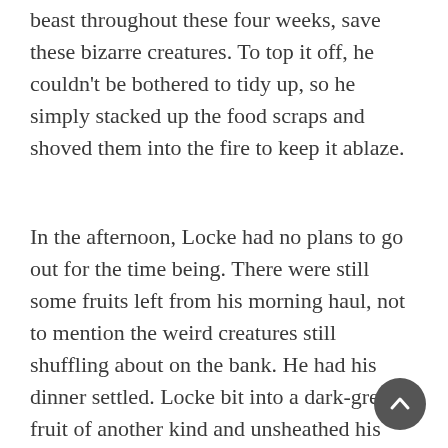beast throughout these four weeks, save these bizarre creatures. To top it off, he couldn't be bothered to tidy up, so he simply stacked up the food scraps and shoved them into the fire to keep it ablaze.
In the afternoon, Locke had no plans to go out for the time being. There were still some fruits left from his morning haul, not to mention the weird creatures still shuffling about on the bank. He had his dinner settled. Locke bit into a dark-green fruit of another kind and unsheathed his dagger to work on the sections of tree trunk he had fetched. The fruit was sour down to its core, but Locke managed to bring